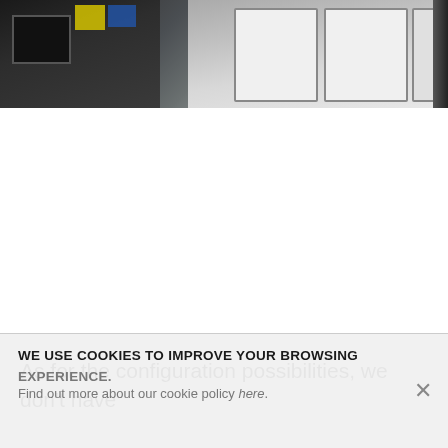[Figure (photo): Photograph showing ATM or payment terminal device on the left side with a dark body and screen, alongside yellow and blue product packaging/labels, and white card reader slot panels on the right side against a light grey background.]
As for the configuration possibilities, we don't have
WE USE COOKIES TO IMPROVE YOUR BROWSING EXPERIENCE.
Find out more about our cookie policy here.